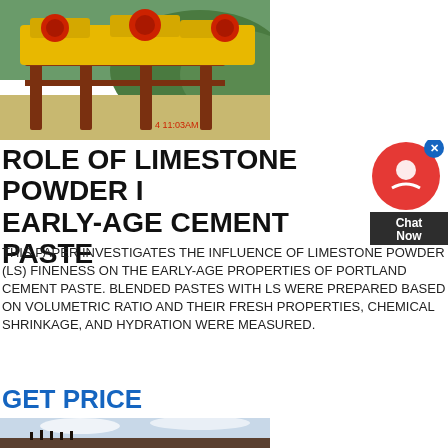[Figure (photo): Industrial limestone crushing/mining equipment with yellow machinery and rust-colored steel structures outdoors, with timestamp 4 11:03AM]
ROLE OF LIMESTONE POWDER IN EARLY-AGE CEMENT PASTE
THIS PAPER INVESTIGATES THE INFLUENCE OF LIMESTONE POWDER (LS) FINENESS ON THE EARLY-AGE PROPERTIES OF PORTLAND CEMENT PASTE. BLENDED PASTES WITH LS WERE PREPARED BASED ON VOLUMETRIC RATIO AND THEIR FRESH PROPERTIES, CHEMICAL SHRINKAGE, AND HYDRATION WERE MEASURED.
GET PRICE
[Figure (photo): People standing on a hilltop or mountain ridge against a cloudy sky]